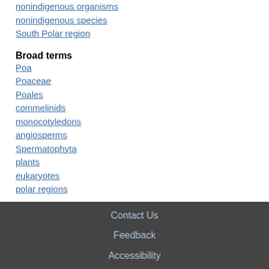nonindigenous organisms
nonindigenous species
South Polar region
Broad terms
Poa
Poaceae
Poales
commelinids
monocotyledons
angiosperms
Spermatophyta
plants
eukaryotes
polar regions
Record Number
20153204730
Contact Us
Feedback
Accessibility